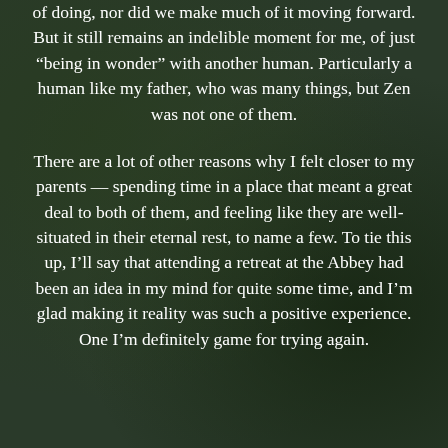of doing, nor did we make much of it moving forward. But it still remains an indelible moment for me, of just “being in wonder” with another human. Particularly a human like my father, who was many things, but Zen was not one of them.
There are a lot of other reasons why I felt closer to my parents — spending time in a place that meant a great deal to both of them, and feeling like they are well-situated in their eternal rest, to name a few. To tie this up, I’ll say that attending a retreat at the Abbey had been an idea in my mind for quite some time, and I’m glad making it reality was such a positive experience. One I’m definitely game for trying again.